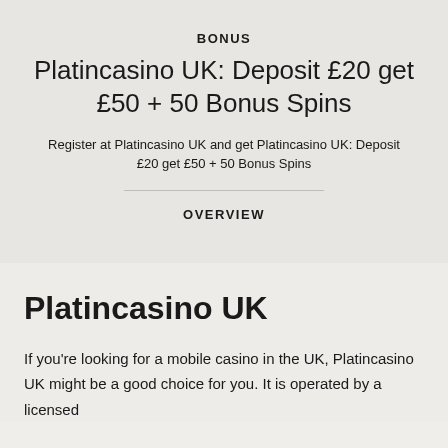BONUS
Platincasino UK: Deposit £20 get £50 + 50 Bonus Spins
Register at Platincasino UK and get Platincasino UK: Deposit £20 get £50 + 50 Bonus Spins
OVERVIEW
Platincasino UK
If you're looking for a mobile casino in the UK, Platincasino UK might be a good choice for you. It is operated by a licensed